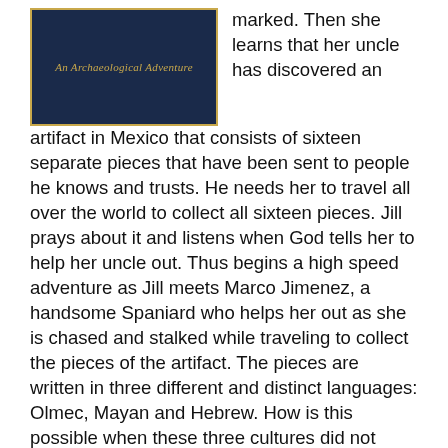[Figure (illustration): Book cover with dark navy blue background and gold text reading 'An Archaeological Adventure']
marked. Then she learns that her uncle has discovered an artifact in Mexico that consists of sixteen separate pieces that have been sent to people he knows and trusts. He needs her to travel all over the world to collect all sixteen pieces. Jill prays about it and listens when God tells her to help her uncle out. Thus begins a high speed adventure as Jill meets Marco Jimenez, a handsome Spaniard who helps her out as she is chased and stalked while traveling to collect the pieces of the artifact. The pieces are written in three different and distinct languages: Olmec, Mayan and Hebrew. How is this possible when these three cultures did not exist together and what is the significance of it all?
The adventures Wendy Hughes puts her heroine